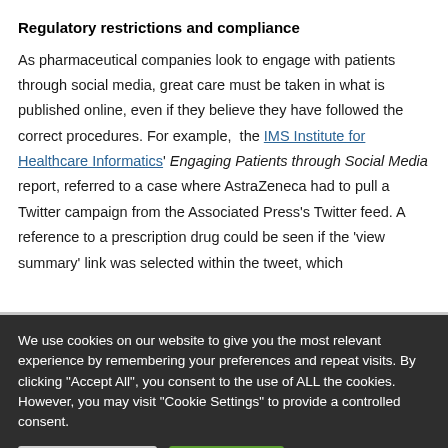Regulatory restrictions and compliance
As pharmaceutical companies look to engage with patients through social media, great care must be taken in what is published online, even if they believe they have followed the correct procedures. For example,  the IMS Institute for Healthcare Informatics' Engaging Patients through Social Media report, referred to a case where AstraZeneca had to pull a Twitter campaign from the Associated Press's Twitter feed. A reference to a prescription drug could be seen if the 'view summary' link was selected within the tweet, which
We use cookies on our website to give you the most relevant experience by remembering your preferences and repeat visits. By clicking "Accept All", you consent to the use of ALL the cookies. However, you may visit "Cookie Settings" to provide a controlled consent.